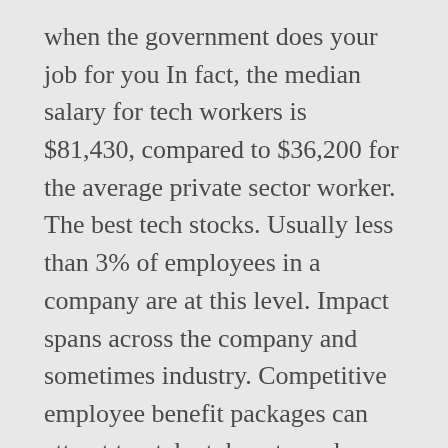when the government does your job for you In fact, the median salary for tech workers is $81,430, compared to $36,200 for the average private sector worker. The best tech stocks. Usually less than 3% of employees in a company are at this level. Impact spans across the company and sometimes industry. Competitive employee benefit packages can attract top talent, boost employee satisfaction, and increase retention rates for tech companies. Average Base Salary: $146,085. Many companies realize this challenge and are making it easier than ever to juggle work and parenthood. New-grads or little to no industry experience. Highest paying job titles at Reddit include Back-End Software Engineer, with